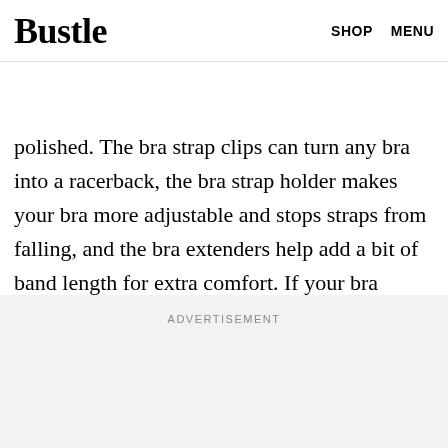Bustle  SHOP  MENU
If you prefer bras or strappy layering tanks, this bra...make your look both com...
polished. The bra strap clips can turn any bra into a racerback, the bra strap holder makes your bra more adjustable and stops straps from falling, and the bra extenders help add a bit of band length for extra comfort. If your bra doesn't look like it's fitting comfortably, it can cause havoc to your overall look.
ADVERTISEMENT